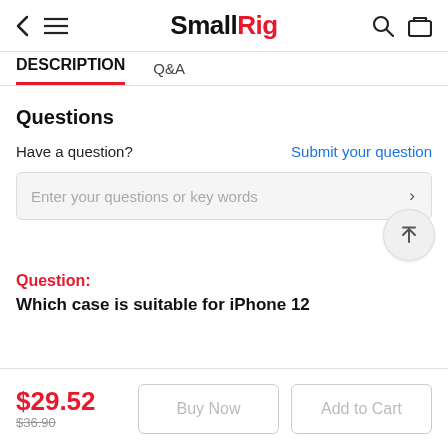SmallRig
DESCRIPTION
Q&A
Questions
Have a question?
Submit your question
Enter your questions or key words
Question:
Which case is suitable for iPhone 12
$29.52
$36.90
Buy Now
Add to Cart